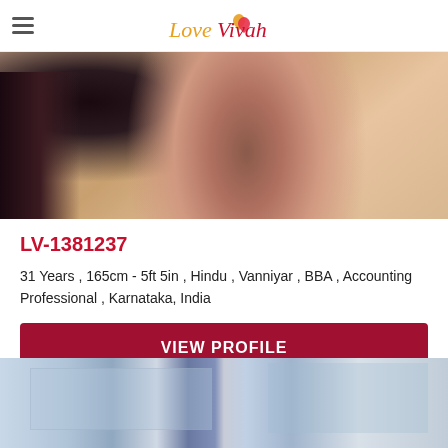LoveVivah
[Figure (photo): Close-up photo of a young woman wearing a pink top, with dark curly hair, looking downward]
LV-1381237
31 Years , 165cm - 5ft 5in , Hindu , Vanniyar , BBA , Accounting Professional , Karnataka, India
VIEW PROFILE
[Figure (photo): Partial photo showing a room interior with shelves and bottles/items, appears to be a kitchen or laboratory setting]